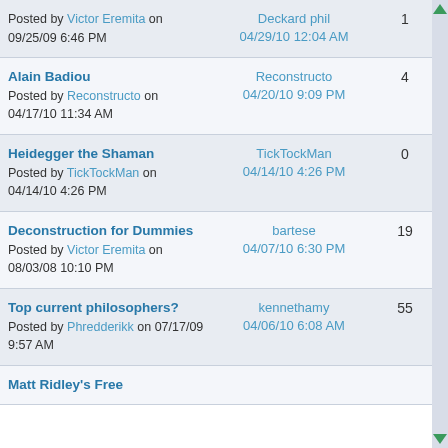| Topic | Last Post | Replies | Views |
| --- | --- | --- | --- |
| Posted by Victor Eremita on 09/25/09 6:46 PM | Deckard phil
04/29/10 12:04 AM | 1 | 1,566 |
| Alain Badiou
Posted by Reconstructo on 04/17/10 11:34 AM | Reconstructo
04/20/10 9:09 PM | 4 | 1,586 |
| Heidegger the Shaman
Posted by TickTockMan on 04/14/10 4:26 PM | TickTockMan
04/14/10 4:26 PM | 0 | 1,293 |
| Deconstruction for Dummies
Posted by Victor Eremita on 08/03/08 10:10 PM | bartese
04/07/10 6:30 PM | 19 | 32,929 |
| Top current philosophers?
Posted by Phredderikk on 07/17/09 9:57 AM | kennethamy
04/06/10 6:08 AM | 55 | 19,763 |
| Matt Ridley's Free... |  |  |  |